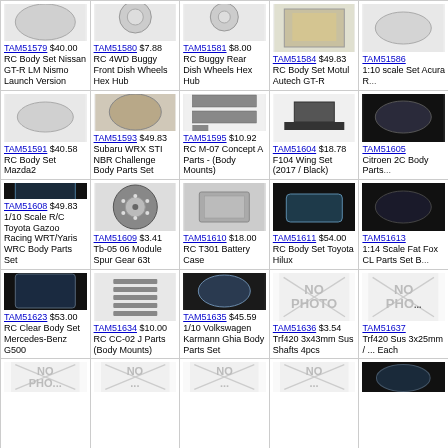TAM51579 $40.00 RC Body Set Nissan GT-R LM Nismo Launch Version
TAM51580 $7.88 RC 4WD Buggy Front Dish Wheels Hex Hub
TAM51581 $8.00 RC Buggy Rear Dish Wheels Hex Hub
TAM51584 $49.83 RC Body Set Motul Autech GT-R
TAM51586 1:10 scale Set Acura R...
TAM51591 $40.58 RC Body Set Mazda2
TAM51593 $49.83 Subaru WRX STI NBR Challenge Body Parts Set
TAM51595 $10.92 RC M-07 Concept A Parts - (Body Mounts)
TAM51604 $18.78 F104 Wing Set (2017 / Black)
TAM51605 Citroen 2C Body Parts...
TAM51608 $49.83 1/10 Scale R/C Toyota Gazoo Racing WRT/Yaris WRC Body Parts Set
TAM51609 $3.41 Tb-05 06 Module Spur Gear 63t
TAM51610 $18.00 RC T301 Battery Case
TAM51611 $54.00 RC Body Set Toyota Hilux
TAM51613 1:14 Scale Fat Fox CL Parts Set B...
TAM51623 $53.00 RC Clear Body Set Mercedes-Benz G500
TAM51634 $10.00 RC CC-02 J Parts (Body Mounts)
TAM51635 $45.59 1/10 Volkswagen Karmann Ghia Body Parts Set
TAM51636 $3.54 Trf420 3x43mm Sus Shafts 4pcs
TAM51637 Trf420 Sus 3x25mm / ... Each
NO PHOTO
NO PHOTO
NO PHOTO
NO PHOTO
NO PHOTO (partial)